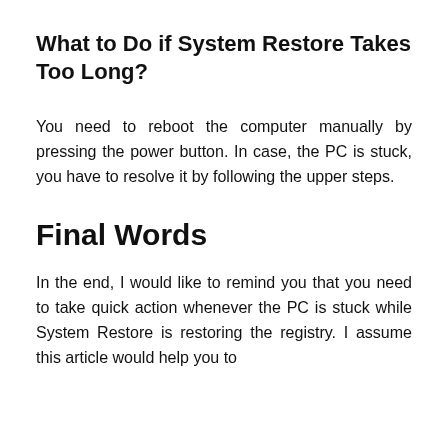What to Do if System Restore Takes Too Long?
You need to reboot the computer manually by pressing the power button. In case, the PC is stuck, you have to resolve it by following the upper steps.
Final Words
In the end, I would like to remind you that you need to take quick action whenever the PC is stuck while System Restore is restoring the registry. I assume this article would help you to